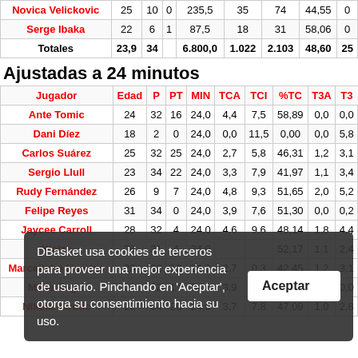| Jugador | Edad | P | PT | MIN | TCA | TCI | %TC | T3A | T3 |
| --- | --- | --- | --- | --- | --- | --- | --- | --- | --- |
| Novica Velickovic | 25 | 10 | 0 | 235,5 | 35 | 74 | 44,55 | 0 |
| Serge Ibaka | 22 | 6 | 1 | 87,5 | 18 | 31 | 58,06 | 0 |
| Totales | 23,9 | 34 |  | 6.800,0 | 1.022 | 2.103 | 48,60 | 25 |
Ajustadas a 24 minutos
| Jugador | Edad | P | PT | MIN | TCA | TCI | %TC | T3A | T3 |
| --- | --- | --- | --- | --- | --- | --- | --- | --- | --- |
| Ante Tomic | 24 | 32 | 16 | 24,0 | 4,4 | 7,5 | 58,89 | 0,0 | 0,0 |
| Dani Díez | 18 | 2 | 0 | 24,0 | 0,0 | 11,5 | 0,00 | 0,0 | 5,8 |
| Carlos Suárez | 25 | 32 | 25 | 24,0 | 2,7 | 5,8 | 46,31 | 1,2 | 3,1 |
| Sergio Llull | 23 | 34 | 22 | 24,0 | 3,3 | 7,9 | 41,97 | 1,1 | 3,4 |
| Rudy Fernández | 26 | 9 | 7 | 24,0 | 4,8 | 9,3 | 51,65 | 2,0 | 5,2 |
| Felipe Reyes | 31 | 34 | 0 | 24,0 | 3,9 | 7,6 | 51,30 | 0,0 | 0,2 |
| Jaycee Carroll | 28 | 32 | 4 | 24,0 | 4,6 | 9,6 | 48,14 | 1,8 | 4,4 |
| Kleiza | 28 | 31 | 4 | 24,0 |  |  | 52,17 | 1,1 | 2,4 |
| Marcelinho Huertas | 23 | 32 | 12 | 24,0 | 2,7 |  | 42,45 | 1,2 | 3,1 |
| Mirza Begic | 26 | 32 | 17 | 24,0 | 3,9 | 6,1 | 64,80 | 0,0 | 0,0 |
| Nikola Mirotic | 20 | 34 | 26 | 24,0 | 3,7 | 7,8 | 47,09 | 1,0 | 2,8 |